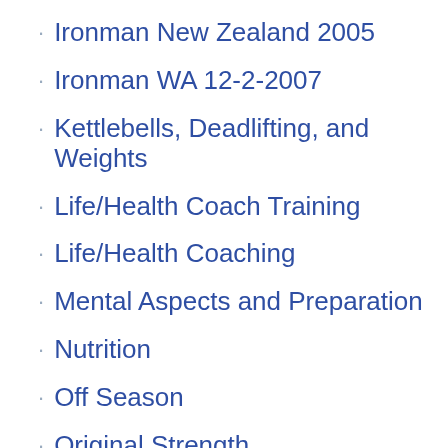Ironman New Zealand 2005
Ironman WA 12-2-2007
Kettlebells, Deadlifting, and Weights
Life/Health Coach Training
Life/Health Coaching
Mental Aspects and Preparation
Nutrition
Off Season
Original Strength
Pandemic
Race Reports
RKC August 17-18, 2019